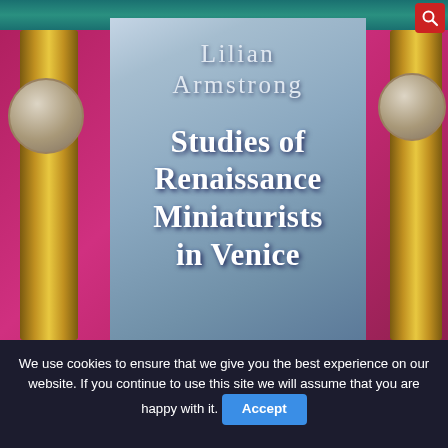[Figure (illustration): Book cover for 'Studies of Renaissance Miniaturists in Venice' by Lilian Armstrong. Features a blue-grey title panel centered on a magenta/pink decorative background with golden pillar ornaments on left and right sides, classical coin medallions, and a teal bar at top and bottom. The author name 'Lilian Armstrong' appears in silver-white serif text at the top of the panel, followed by the title 'Studies of Renaissance Miniaturists in Venice' in large bold white serif text.]
We use cookies to ensure that we give you the best experience on our website. If you continue to use this site we will assume that you are happy with it.